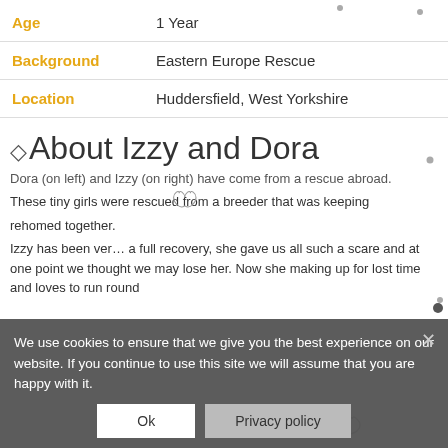| Field | Value |
| --- | --- |
| Age | 1 Year |
| Background | Eastern Europe Rescue |
| Location | Huddersfield, West Yorkshire |
About Izzy and Dora
Dora (on left) and Izzy (on right) have come from a rescue abroad.
These tiny girls were rescued from a breeder that was keeping
rehomed together.
Izzy has been ver... a full recovery, she gave us all such a scare and at one point we thought we may lose her. Now she making up for lost time and loves to run round